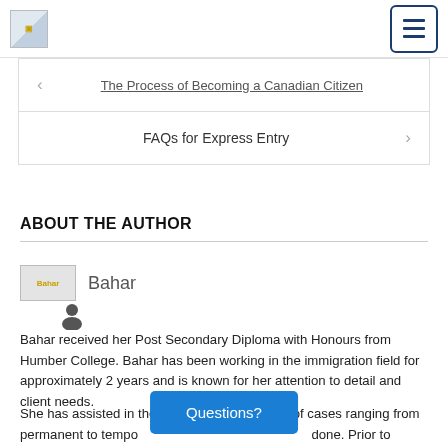Logo and hamburger menu
The Process of Becoming a Canadian Citizen
FAQs for Express Entry
ABOUT THE AUTHOR
[Figure (photo): Bahar author photo placeholder]
Bahar
Bahar received her Post Secondary Diploma with Honours from Humber College. Bahar has been working in the immigration field for approximately 2 years and is known for her attention to detail and client needs.
She has assisted in the successful completion of cases ranging from permanent to temporary... will find a way to get 'it' done. Prior to working wit... tes, Bahar also
Questions?